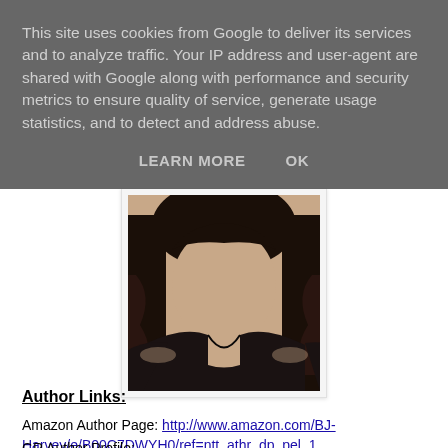This site uses cookies from Google to deliver its services and to analyze traffic. Your IP address and user-agent are shared with Google along with performance and security metrics to ensure quality of service, generate usage statistics, and to detect and address abuse.
LEARN MORE   OK
[Figure (photo): Profile photo of a woman with long dark hair wearing a black top, selfie-style photo]
Author Links:
Amazon Author Page: http://www.amazon.com/BJ-Harvey/e/B00C7DWYH0/ref=ntt_athr_dp_pel_1
GR Author Profile: